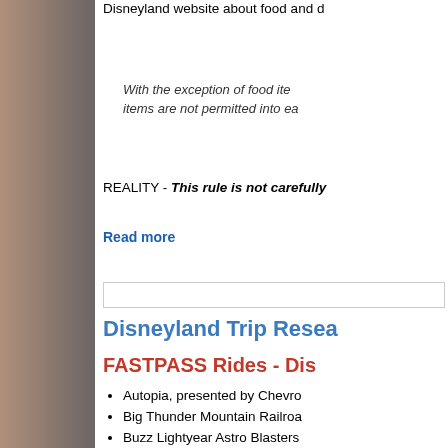Disneyland website about food and d...
With the exception of food ite... items are not permitted into ea...
REALITY - This rule is not carefully...
Read more
Disneyland Trip Resea...
FASTPASS Rides - Dis...
Autopia, presented by Chevro...
Big Thunder Mountain Railroa...
Buzz Lightyear Astro Blasters...
Indiana Jones Adventure
Roger Rabbit's Car Toon Spin...
Space Mountain
Splash Mountain
FASTPASS Rides - Dis...